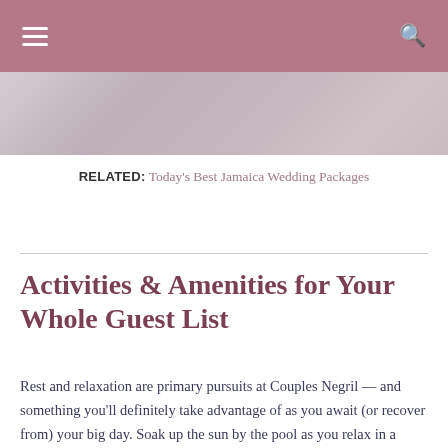Navigation bar with menu and search icons
[Figure (photo): Partial photo of a wedding scene at top of page]
RELATED: Today's Best Jamaica Wedding Packages
Activities & Amenities for Your Whole Guest List
Rest and relaxation are primary pursuits at Couples Negril — and something you'll definitely take advantage of as you await (or recover from) your big day. Soak up the sun by the pool as you relax in a lounger.
[Figure (photo): Photo of people at a resort, partially visible at bottom]